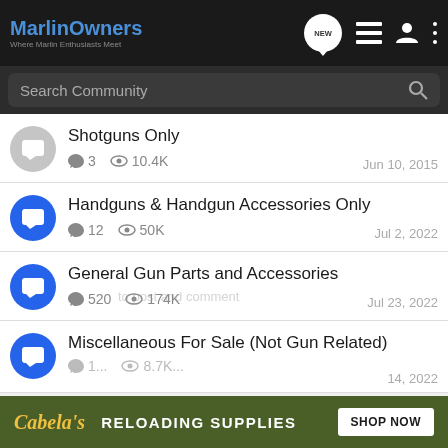MarlinOwners — Where Marlin Enthusiasts Meet
Shotguns Only — 3 replies, 10.4K views, Jun 10, 2015
Handguns & Handgun Accessories Only — 12 replies, 50K views, Jul 2, 2022
General Gun Parts and Accessories — 520 replies, 174K views, Jul 23, 2022
Miscellaneous For Sale (Not Gun Related) — 14, 2022
[Figure (screenshot): Cabela's advertisement banner: RELOADING SUPPLIES — SHOP NOW]